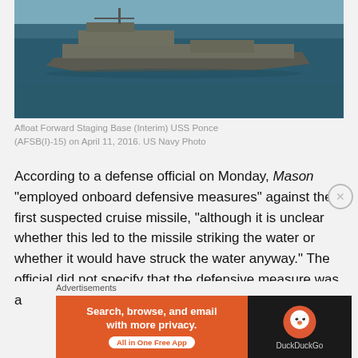[Figure (photo): Aerial photo of the Afloat Forward Staging Base (Interim) USS Ponce (AFSB(I)-15) at sea, taken on April 11, 2016. US Navy Photo.]
Afloat Forward Staging Base (Interim) USS Ponce (AFSB(I)-15) on April 11, 2016. US Navy Photo
According to a defense official on Monday, Mason "employed onboard defensive measures" against the first suspected cruise missile, "although it is unclear whether this led to the missile striking the water or whether it would have struck the water anyway." The official did not specify that the defensive measure was a
Advertisements
[Figure (screenshot): DuckDuckGo advertisement banner: 'Search, browse, and email with more privacy. All in One Free App' with DuckDuckGo logo on dark background.]